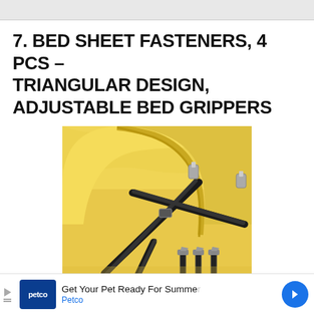7. BED SHEET FASTENERS, 4 PCS – TRIANGULAR DESIGN, ADJUSTABLE BED GRIPPERS
[Figure (photo): Product photo showing a yellow fitted bed sheet corner held in place by a black triangular X-shaped elastic strap fastener with metal clips, with three individual clip fasteners shown in the lower right]
Get Your Pet Ready For Summer
Petco